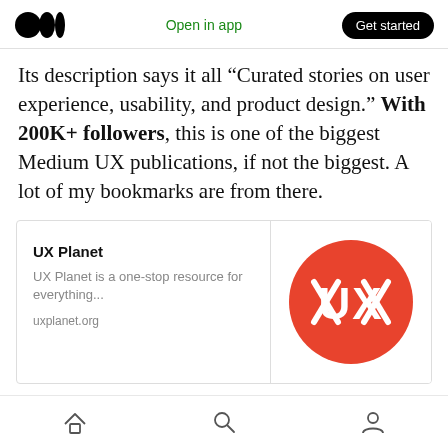Medium logo | Open in app | Get started
Its description says it all “Curated stories on user experience, usability, and product design.” With 200K+ followers, this is one of the biggest Medium UX publications, if not the biggest. A lot of my bookmarks are from there.
[Figure (screenshot): UX Planet link card with title 'UX Planet', description 'UX Planet is a one-stop resource for everything...', URL 'uxplanet.org', and UX Planet logo (red circle with white UX text)]
Home | Search | Profile